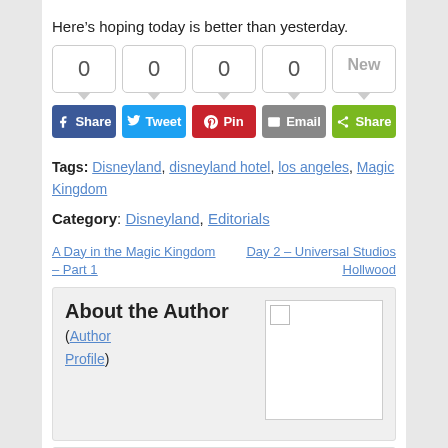Here’s hoping today is better than yesterday.
[Figure (infographic): Social share count boxes showing 0, 0, 0, 0, New and share buttons: Facebook Share, Tweet, Pinterest Pin, Email, Share]
Tags: Disneyland, disneyland hotel, los angeles, Magic Kingdom
Category: Disneyland, Editorials
A Day in the Magic Kingdom – Part 1
Day 2 – Universal Studios Hollwood
About the Author (Author Profile)
Subscribe
Related posts: